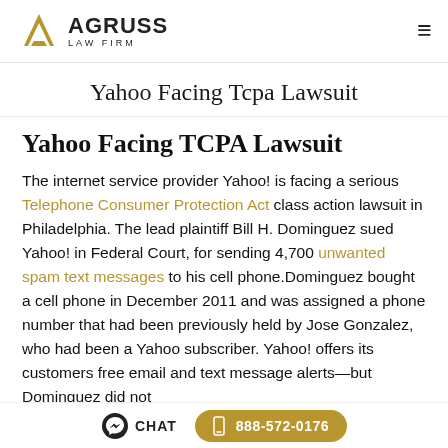Agruss Law Firm
Yahoo Facing Tcpa Lawsuit
Yahoo Facing TCPA Lawsuit
The internet service provider Yahoo! is facing a serious Telephone Consumer Protection Act class action lawsuit in Philadelphia. The lead plaintiff Bill H. Dominguez sued Yahoo! in Federal Court, for sending 4,700 unwanted spam text messages to his cell phone.Dominguez bought a cell phone in December 2011 and was assigned a phone number that had been previously held by Jose Gonzalez, who had been a Yahoo subscriber. Yahoo! offers its customers free email and text message alerts—but Dominguez did not
CHAT  888-572-0176